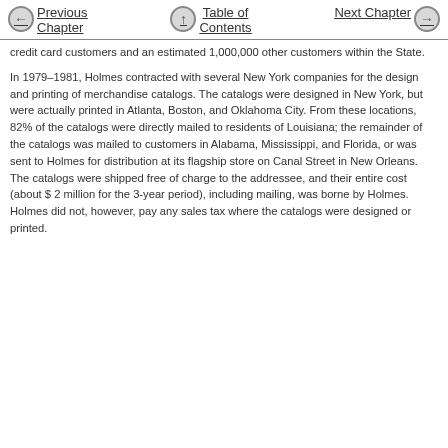Previous Chapter | Table of Contents | Next Chapter
credit card customers and an estimated 1,000,000 other customers within the State.
In 1979–1981, Holmes contracted with several New York companies for the design and printing of merchandise catalogs. The catalogs were designed in New York, but were actually printed in Atlanta, Boston, and Oklahoma City. From these locations, 82% of the catalogs were directly mailed to residents of Louisiana; the remainder of the catalogs was mailed to customers in Alabama, Mississippi, and Florida, or was sent to Holmes for distribution at its flagship store on Canal Street in New Orleans. The catalogs were shipped free of charge to the addressee, and their entire cost (about $ 2 million for the 3-year period), including mailing, was borne by Holmes. Holmes did not, however, pay any sales tax where the catalogs were designed or printed.